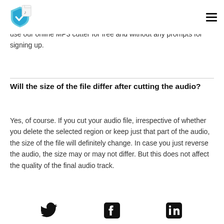[Logo icon] [Menu icon]
use our online MP3 cutter for free and without any prompts for signing up.
Will the size of the file differ after cutting the audio?
Yes, of course. If you cut your audio file, irrespective of whether you delete the selected region or keep just that part of the audio, the size of the file will definitely change. In case you just reverse the audio, the size may or may not differ. But this does not affect the quality of the final audio track.
[Twitter icon] [Facebook icon] [LinkedIn icon]